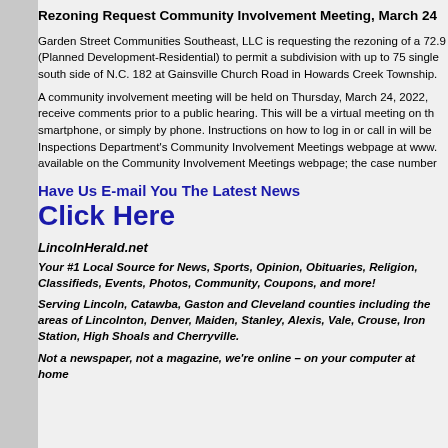Rezoning Request Community Involvement Meeting, March 24
Garden Street Communities Southeast, LLC is requesting the rezoning of a 72.9 (Planned Development-Residential) to permit a subdivision with up to 75 single south side of N.C. 182 at Gainsville Church Road in Howards Creek Township.
A community involvement meeting will be held on Thursday, March 24, 2022, receive comments prior to a public hearing. This will be a virtual meeting on the smartphone, or simply by phone. Instructions on how to log in or call in will be Inspections Department's Community Involvement Meetings webpage at www. available on the Community Involvement Meetings webpage; the case number
Have Us E-mail You The Latest News
Click Here
LincolnHerald.net
Your #1 Local Source for News, Sports, Opinion, Obituaries, Religion, Classifieds, Events, Photos, Community, Coupons, and more!
Serving Lincoln, Catawba, Gaston and Cleveland counties including the areas of Lincolnton, Denver, Maiden, Stanley, Alexis, Vale, Crouse, Iron Station, High Shoals and Cherryville.
Not a newspaper, not a magazine, we're online – on your computer at home